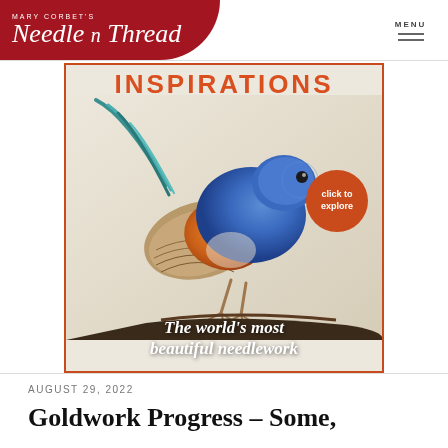MARY CORBET'S Needle n Thread | MENU
[Figure (illustration): Inspirations magazine advertisement featuring a detailed embroidered blue and orange bird (fairy wren) on a cream background with the text 'INSPIRATIONS', a red circle button 'click to explore', and italic text 'The world's most beautiful needlework']
AUGUST 29, 2022
Goldwork Progress – Some, but Not a Lot...